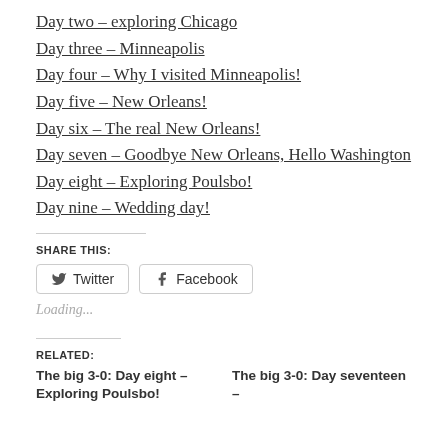Day two – exploring Chicago
Day three – Minneapolis
Day four – Why I visited Minneapolis!
Day five – New Orleans!
Day six – The real New Orleans!
Day seven – Goodbye New Orleans, Hello Washington
Day eight – Exploring Poulsbo!
Day nine – Wedding day!
SHARE THIS:
Twitter  Facebook
Loading...
RELATED:
The big 3-0: Day eight – Exploring Poulsbo!
The big 3-0: Day seventeen – ...